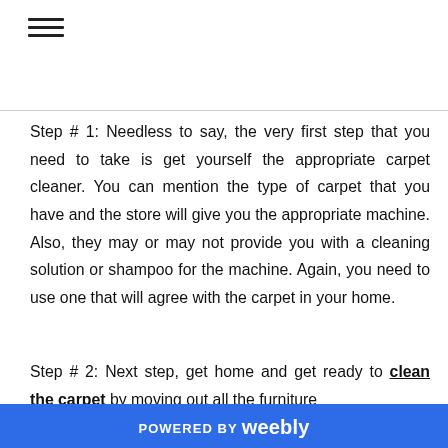≡
Step # 1: Needless to say, the very first step that you need to take is get yourself the appropriate carpet cleaner. You can mention the type of carpet that you have and the store will give you the appropriate machine. Also, they may or may not provide you with a cleaning solution or shampoo for the machine. Again, you need to use one that will agree with the carpet in your home.
Step # 2: Next step, get home and get ready to clean the carpet by moving out all the furniture
POWERED BY weebly